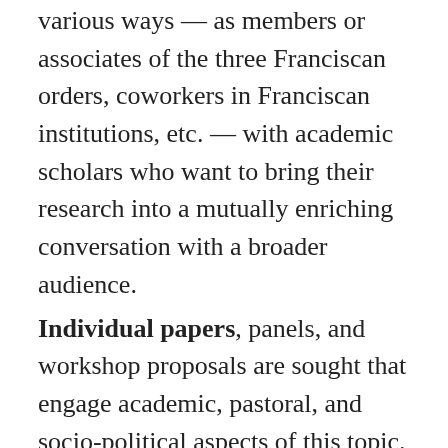various ways — as members or associates of the three Franciscan orders, coworkers in Franciscan institutions, etc. — with academic scholars who want to bring their research into a mutually enriching conversation with a broader audience.
Individual papers, panels, and workshop proposals are sought that engage academic, pastoral, and socio-political aspects of this topic.
Possible areas of focus include, but are not limited to the following:
Franciscan women and leadership
Female Franciscanism during the Middle Ages